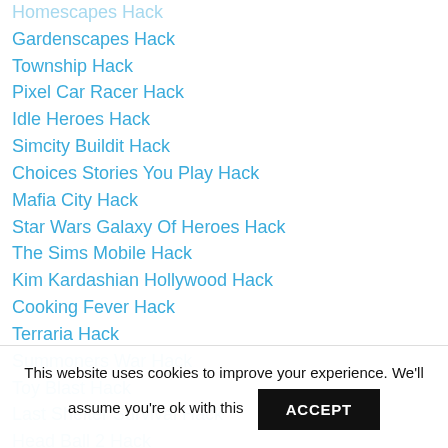Homescapes Hack
Gardenscapes Hack
Township Hack
Pixel Car Racer Hack
Idle Heroes Hack
Simcity Buildit Hack
Choices Stories You Play Hack
Mafia City Hack
Star Wars Galaxy Of Heroes Hack
The Sims Mobile Hack
Kim Kardashian Hollywood Hack
Cooking Fever Hack
Terraria Hack
Summoners War Hack
Toy Blast Hack
Last Shelter Survival Hack
Head Ball 2 Hack
Idle Miner Tycoon Hack
This website uses cookies to improve your experience. We'll assume you're ok with this ACCEPT